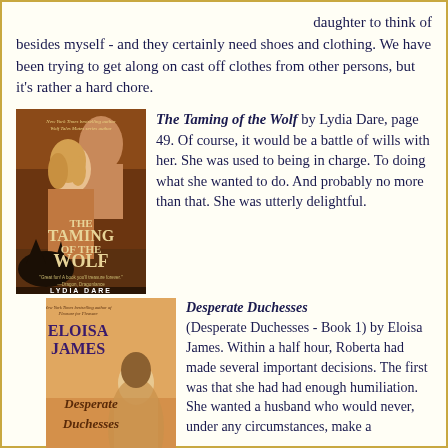daughter to think of besides myself - and they certainly need shoes and clothing. We have been trying to get along on cast off clothes from other persons, but it's rather a hard chore.
[Figure (photo): Book cover of 'The Taming of the Wolf' by Lydia Dare, showing a woman with long hair and a shirtless man, with a wolf silhouette at the bottom.]
The Taming of the Wolf by Lydia Dare, page 49. Of course, it would be a battle of wills with her. She was used to being in charge. To doing what she wanted to do. And probably no more than that. She was utterly delightful.
[Figure (photo): Book cover of 'Desperate Duchesses' by Eloisa James, showing a woman in period dress with ornate typography.]
Desperate Duchesses (Desperate Duchesses - Book 1) by Eloisa James. Within a half hour, Roberta had made several important decisions. The first was that she had had enough humiliation. She wanted a husband who would never, under any circumstances, make a